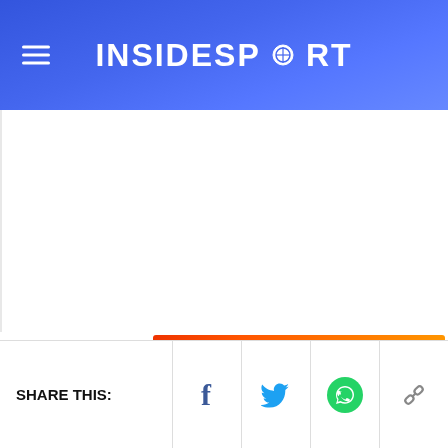INSIDESPORT
[Figure (screenshot): Advertisement overlay: BitLife 'START A NEW LIFE' game ad with orange/fire background and cartoon character]
After dropping serve midway through the opening set on th... thr...
SHARE THIS: